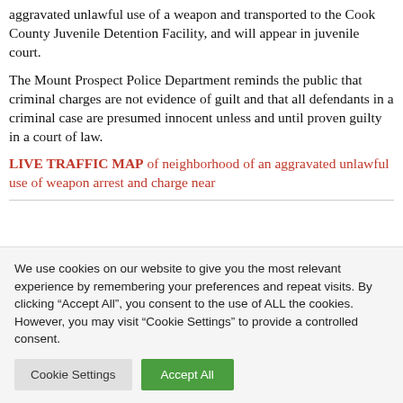aggravated unlawful use of a weapon and transported to the Cook County Juvenile Detention Facility, and will appear in juvenile court.
The Mount Prospect Police Department reminds the public that criminal charges are not evidence of guilt and that all defendants in a criminal case are presumed innocent unless and until proven guilty in a court of law.
LIVE TRAFFIC MAP of neighborhood of an aggravated unlawful use of weapon arrest and charge near
We use cookies on our website to give you the most relevant experience by remembering your preferences and repeat visits. By clicking “Accept All”, you consent to the use of ALL the cookies. However, you may visit “Cookie Settings” to provide a controlled consent.